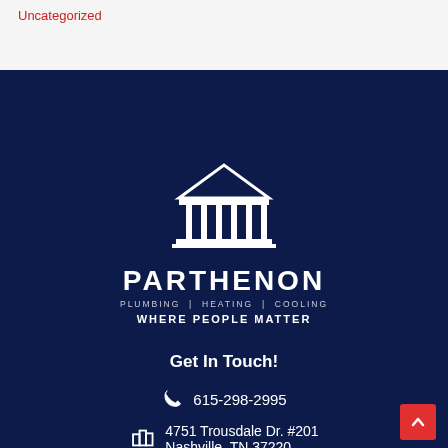Uncategorized
[Figure (logo): Parthenon Plumbing Heating Cooling logo with classical Greek temple icon above company name. White on dark navy background.]
Get In Touch!
615-298-2995
4751 Trousdale Dr. #201
Nashville, TN 37220
info@parthenonplumbing.com